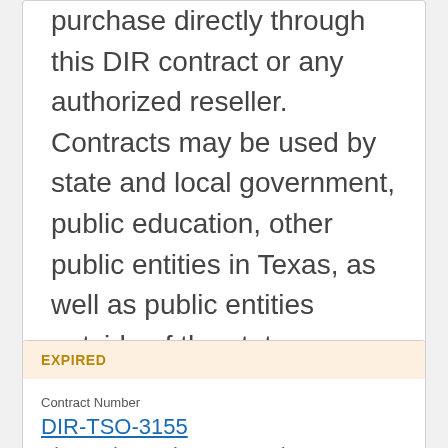purchase directly through this DIR contract or any authorized reseller. Contracts may be used by state and local government, public education, other public entities in Texas, as well as public entities outside of the state. Resellers are available for this contract which, three are HUB vendors. DIR has exercised the automatic renewal option for this Contract. This renewal extends the contract through 08/9/2023.
EXPIRED
Contract Number
DIR-TSO-3155
Sharp Electronics Corporatio...